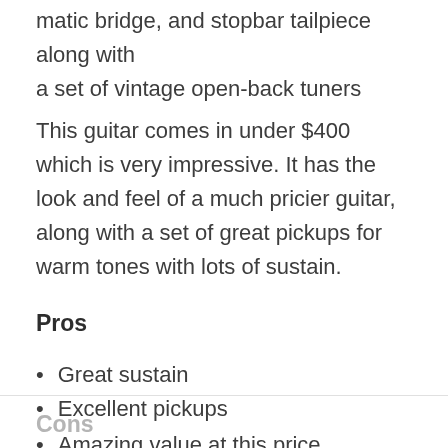matic bridge, and stopbar tailpiece along with a set of vintage open-back tuners
This guitar comes in under $400 which is very impressive. It has the look and feel of a much pricier guitar, along with a set of great pickups for warm tones with lots of sustain.
Pros
Great sustain
Excellent pickups
Amazing value at this price
Cons